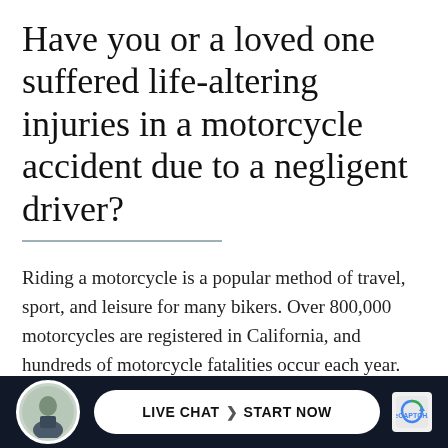Have you or a loved one suffered life-altering injuries in a motorcycle accident due to a negligent driver?
Riding a motorcycle is a popular method of travel, sport, and leisure for many bikers. Over 800,000 motorcycles are registered in California, and hundreds of motorcycle fatalities occur each year. Motorcyclists share the road with millions of drivers on roads and highways every day. When accidents happen, injured bikers and
[Figure (other): Dark footer bar with circular avatar photo of a man in a suit, a white pill-shaped live chat button reading 'LIVE CHAT > START NOW', and a reCAPTCHA logo on the right.]